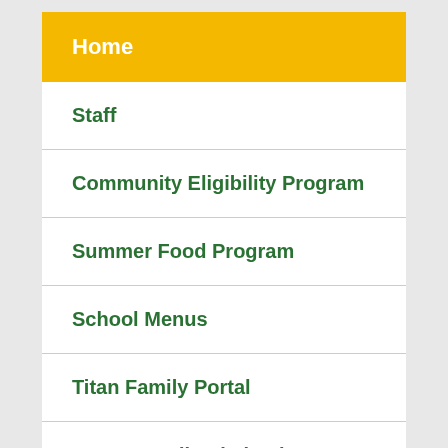Home
Staff
Community Eligibility Program
Summer Food Program
School Menus
Titan Family Portal
USDA Nondiscrimination Statement